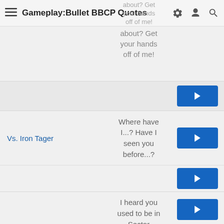Gameplay:Bullet BBCP Quotes
about? Get your hands off of me!
Vs. Iron Tager
Where have I...? Have I seen you before...?
Vs. Litchi Faye-Ling
I heard you used to be in Sector Seven. Do you know a doctor named Kokonoe?